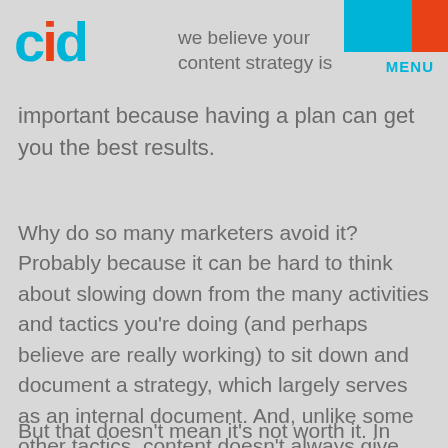CID logo and MENU navigation
At CID we believe your content strategy is important because having a plan can get you the best results.
Why do so many marketers avoid it? Probably because it can be hard to think about slowing down from the many activities and tactics you're doing (and perhaps believe are really working) to sit down and document a strategy, which largely serves as an internal document. And, unlike some other tactics, content doesn't always give the quick payoff marketers (and their bosses) are hoping for from their efforts.
But that doesn't mean it's not worth it. In fact,